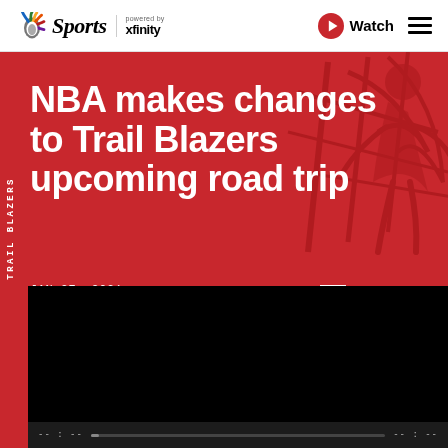NBC Sports powered by xfinity | Watch
NBA makes changes to Trail Blazers upcoming road trip
JAN 27, 2021
BY CHRIS BURKHARDT
[Figure (screenshot): Video player showing a black screen with playback controls at the bottom, time display '-- : --' on left and right]
TRAIL BLAZERS